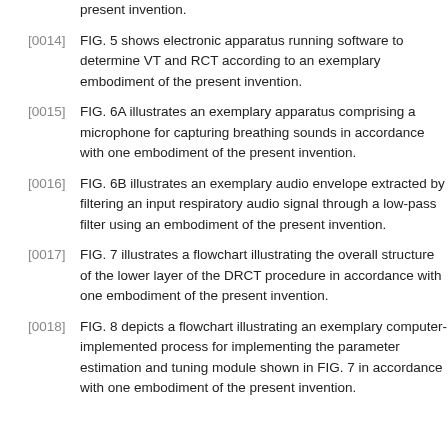present invention.
[0014] FIG. 5 shows electronic apparatus running software to determine VT and RCT according to an exemplary embodiment of the present invention.
[0015] FIG. 6A illustrates an exemplary apparatus comprising a microphone for capturing breathing sounds in accordance with one embodiment of the present invention.
[0016] FIG. 6B illustrates an exemplary audio envelope extracted by filtering an input respiratory audio signal through a low-pass filter using an embodiment of the present invention.
[0017] FIG. 7 illustrates a flowchart illustrating the overall structure of the lower layer of the DRCT procedure in accordance with one embodiment of the present invention.
[0018] FIG. 8 depicts a flowchart illustrating an exemplary computer-implemented process for implementing the parameter estimation and tuning module shown in FIG. 7 in accordance with one embodiment of the present invention.